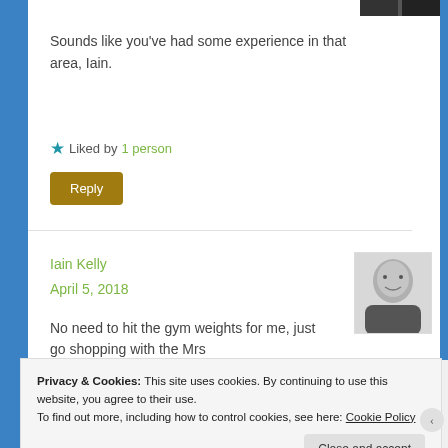[Figure (photo): Small thumbnail image strip at top right, partially visible]
Sounds like you've had some experience in that area, Iain.
★ Liked by 1 person
Reply
Iain Kelly
April 5, 2018
[Figure (photo): Black and white avatar photo of a bald man smiling]
No need to hit the gym weights for me, just go shopping with the Mrs
Privacy & Cookies: This site uses cookies. By continuing to use this website, you agree to their use.
To find out more, including how to control cookies, see here: Cookie Policy
Close and accept